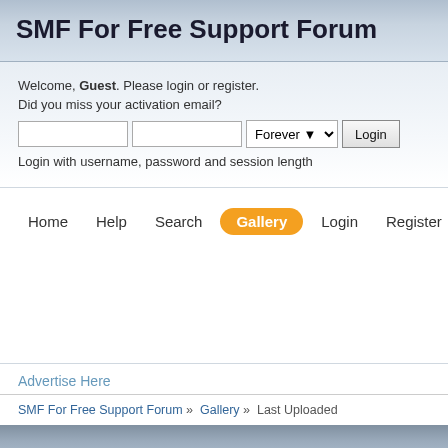SMF For Free Support Forum
Welcome, Guest. Please login or register. Did you miss your activation email?
Login with username, password and session length
Home   Help   Search   Gallery   Login   Register
Advertise Here
SMF For Free Support Forum » Gallery » Last Uploaded
SEARCH